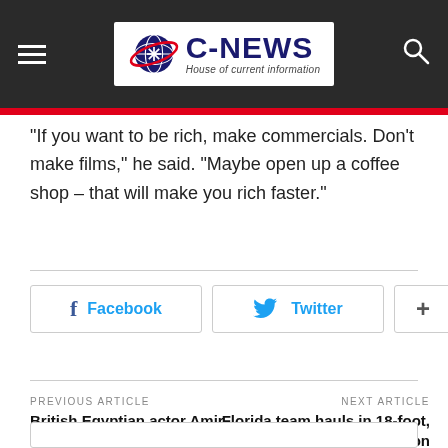C-NEWS House of current information
"If you want to be rich, make commercials. Don't make films," he said. "Maybe open up a coffee shop – that will make you rich faster."
[Figure (infographic): Social share buttons: Facebook, Twitter, and a plus/more button]
PREVIOUS ARTICLE
British Egyptian actor Amir El-Masry to star in Netflix's 'The Crown'
NEXT ARTICLE
Florida team hauls in 18-foot, 215-pound Burmese python